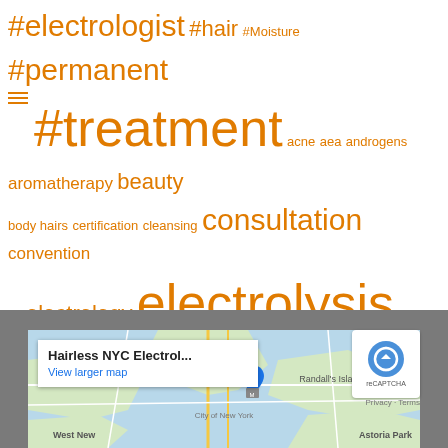[Figure (infographic): Tag cloud with orange words of varying sizes related to electrology, hair removal, skin care. Tags include: #electrologist, #hair, #Moisture, #permanent, #treatment, acne, aea, androgens, aromatherapy, beauty, body hairs, certification, cleansing, consultation, convention, electrology, electrolysis, Endocrinology, essentials oils, face, facial hair, facial hairs, follicle, goal, hair removal, healing, hirsutism, hormones, laser, lavender, Menopause, nyea, organic, pcos, permanent hair removal, shaving, skin, summer, Sun-tan, sunscreen, tweezing, underarms, unwanted hairs, water, waxing]
[Figure (screenshot): Google Maps embed showing area around Randall's Island, West New York, Mott Haven, Astoria Park in New York. A popup shows 'Hairless NYC Electrol...' with a 'View larger map' link. A reCAPTCHA badge is visible in the top right of the map area with Privacy and Terms links.]